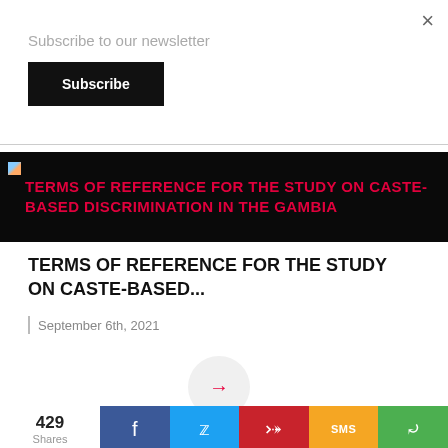×
Subscribe to our newsletter
Subscribe
[Figure (screenshot): Banner image with red text: TERMS OF REFERENCE FOR THE STUDY ON CASTE-BASED DISCRIMINATION IN THE GAMBIA on a dark background]
TERMS OF REFERENCE FOR THE STUDY ON CASTE-BASED...
September 6th, 2021
Do You Want To File A C
429 Shares